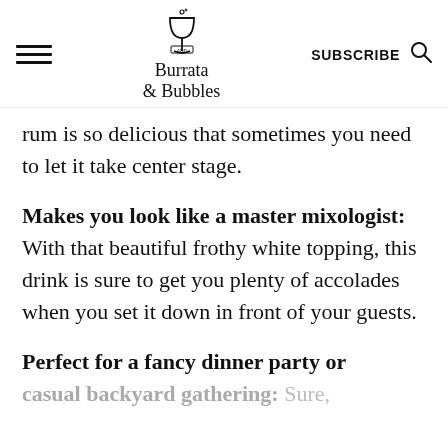Burrata and Bubbles | SUBSCRIBE
rum is so delicious that sometimes you need to let it take center stage.
Makes you look like a master mixologist: With that beautiful frothy white topping, this drink is sure to get you plenty of accolades when you set it down in front of your guests.
Perfect for a fancy dinner party or casual backyard gathering: Sure,